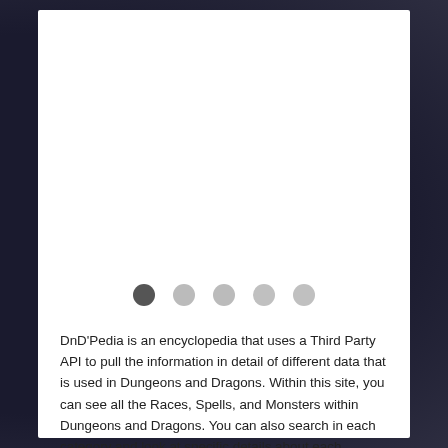[Figure (other): Carousel pagination dots: one dark active dot followed by four lighter inactive dots]
DnD'Pedia is an encyclopedia that uses a Third Party API to pull the information in detail of different data that is used in Dungeons and Dragons. Within this site, you can see all the Races, Spells, and Monsters within Dungeons and Dragons. You can also search in each category and look at specific details about each selected item. A good example is if looking up the traits of an Elf, you can search for the Elf Race in the Races page and then look at more specific details about the Elf.
Skills Used